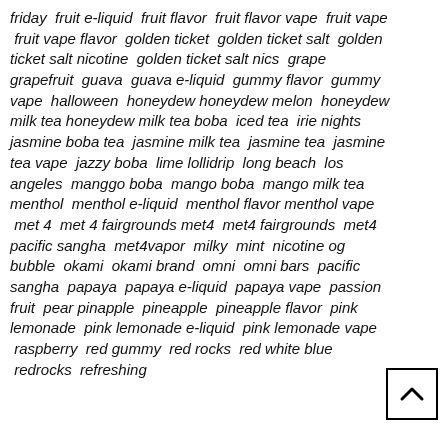friday  fruit e-liquid  fruit flavor  fruit flavor vape  fruit vape  fruit vape flavor  golden ticket  golden ticket salt  golden ticket salt nicotine  golden ticket salt nics  grape grapefruit  guava  guava e-liquid  gummy flavor  gummy vape  halloween  honeydew honeydew melon  honeydew milk tea honeydew milk tea boba  iced tea  irie nights jasmine boba tea  jasmine milk tea  jasmine tea  jasmine tea vape  jazzy boba  lime lollidrip  long beach  los angeles  manggo boba  mango boba  mango milk tea menthol  menthol e-liquid  menthol flavor menthol vape  met 4  met 4 fairgrounds met4  met4 fairgrounds  met4 pacific sangha  met4vapor  milky  mint  nicotine og bubble  okami  okami brand  omni  omni bars  pacific sangha  papaya  papaya e-liquid  papaya vape  passion fruit  pear pinapple  pineapple  pineapple flavor  pink lemonade  pink lemonade e-liquid  pink lemonade vape  raspberry  red gummy  red rocks  red white blue  redrocks  refreshing
[Figure (other): Scroll-to-top button: a square button with an upward-pointing chevron/caret arrow icon]